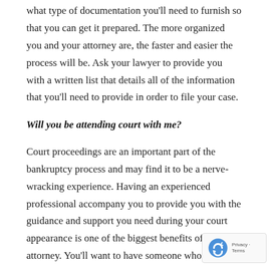what type of documentation you'll need to furnish so that you can get it prepared. The more organized you and your attorney are, the faster and easier the process will be. Ask your lawyer to provide you with a written list that details all of the information that you'll need to provide in order to file your case.
Will you be attending court with me?
Court proceedings are an important part of the bankruptcy process and may find it to be a nerve-wracking experience. Having an experienced professional accompany you to provide you with the guidance and support you need during your court appearance is one of the biggest benefits of hiring an attorney. You'll want to have someone who has prior experience representing clients in court and who you feel comfortable with to calm your nerves.
Don't just assume that your lawyer will be the person who court with you; many Searingtown, NY bankruptcy firms arrange